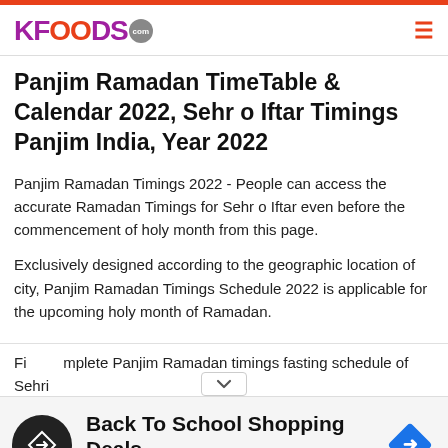KFOODS.com
Panjim Ramadan TimeTable & Calendar 2022, Sehr o Iftar Timings Panjim India, Year 2022
Panjim Ramadan Timings 2022 - People can access the accurate Ramadan Timings for Sehr o Iftar even before the commencement of holy month from this page.
Exclusively designed according to the geographic location of city, Panjim Ramadan Timings Schedule 2022 is applicable for the upcoming holy month of Ramadan.
Fi... mplete Panjim Ramadan timings fasting schedule of Sehri
[Figure (infographic): Advertisement banner: Back To School Shopping Deals - Leesburg Premium Outlets, with navigation arrow icon]